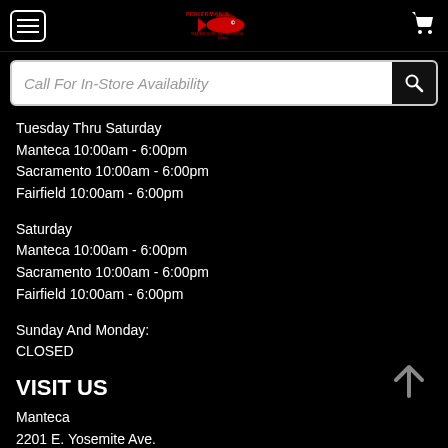[Figure (logo): Fisherman's Warehouse Online logo in red with fish graphic]
Call For In-Store Availability
Tuesday Thru Saturday
Manteca 10:00am - 6:00pm
Sacramento 10:00am - 6:00pm
Fairfield 10:00am - 6:00pm
Saturday
Manteca 10:00am - 6:00pm
Sacramento 10:00am - 6:00pm
Fairfield 10:00am - 6:00pm
Sunday And Monday:
CLOSED
VISIT US
Manteca
2201 E. Yosemite Ave.
Manteca, CA, 95336